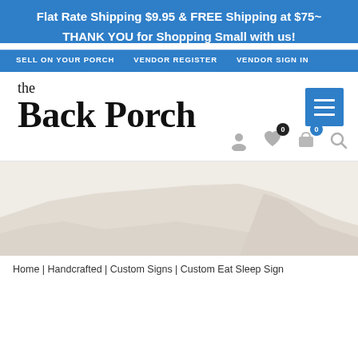Flat Rate Shipping $9.95 & FREE Shipping at $75~
THANK YOU for Shopping Small with us!
SELL ON YOUR PORCH  VENDOR REGISTER  VENDOR SIGN IN
[Figure (logo): the Back Porch store logo in serif font, with hamburger menu icon and navigation icons]
[Figure (photo): Mountain silhouette landscape background image in beige/cream tones]
Home | Handcrafted | Custom Signs | Custom Eat Sleep Sign